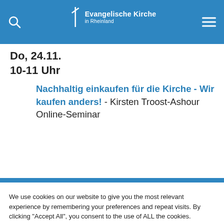Evangelische Kirche in Rheinland
Do, 24.11.
10-11 Uhr
Nachhaltig einkaufen für die Kirche - Wir kaufen anders! - Kirsten Troost-Ashour
Online-Seminar
We use cookies on our website to give you the most relevant experience by remembering your preferences and repeat visits. By clicking "Accept All", you consent to the use of ALL the cookies. However, you may visit "Cookie Settings" to provide a controlled consent.